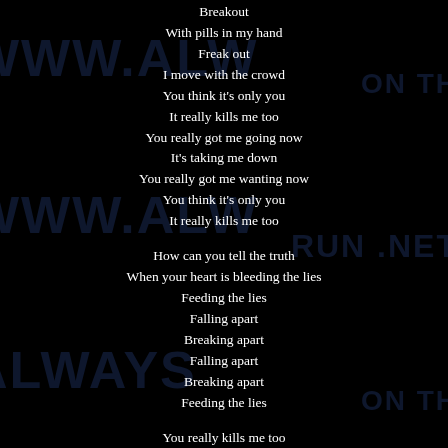Breakout
With pills in my hand
Freak out
I move with the crowd
You think it's only you
It really kills me too
You really got me going now
It's taking me down
You really got me wanting now
You think it's only you
It really kills me too

How can you tell the truth
When your heart is bleeding the lies
Feeding the lies
Falling apart
Breaking apart
Falling apart
Breaking apart
Feeding the lies

You really kills me too

How can you tell the truth
When your heart is bleeding the lies
Feeding the lies
Falling apart
Breaking apart